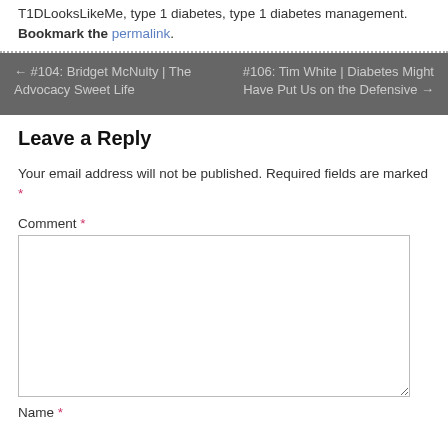T1DLooksLikeMe, type 1 diabetes, type 1 diabetes management. Bookmark the permalink.
← #104: Bridget McNulty | The Advocacy Sweet Life
#106: Tim White | Diabetes Might Have Put Us on the Defensive →
Leave a Reply
Your email address will not be published. Required fields are marked *
Comment *
Name *